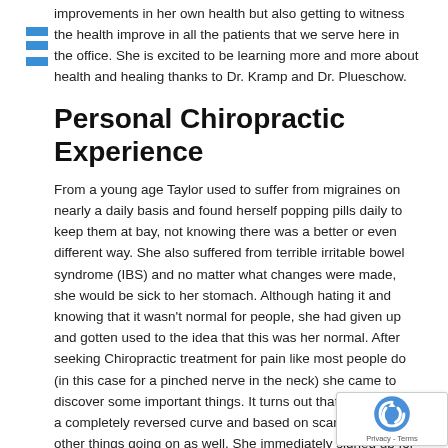each day Taylor is thrilled to come into work and not only experience improvements in her own health but also getting to witness the health improve in all the patients that we serve here in the office. She is excited to be learning more and more about health and healing thanks to Dr. Kramp and Dr. Plueschow.
Personal Chiropractic Experience
From a young age Taylor used to suffer from migraines on nearly a daily basis and found herself popping pills daily to keep them at bay, not knowing there was a better or even different way. She also suffered from terrible irritable bowel syndrome (IBS) and no matter what changes were made, she would be sick to her stomach. Although hating it and knowing that it wasn't normal for people, she had given up and gotten used to the idea that this was her normal. After seeking Chiropractic treatment for pain like most people do (in this case for a pinched nerve in the neck) she came to discover some important things. It turns out that her neck has a completely reversed curve and based on scans, had lots of other things going on as well. She immediately signed up for care and what a great decision that turned out to be. After being under care for less than two years, her definition of normal completely changed. Migraines only happen every once in a while and her IBS barely flares up anymore, if it rarely does, she wonders how she lived with it for so many years of her life. This remedy has led her to come to the...